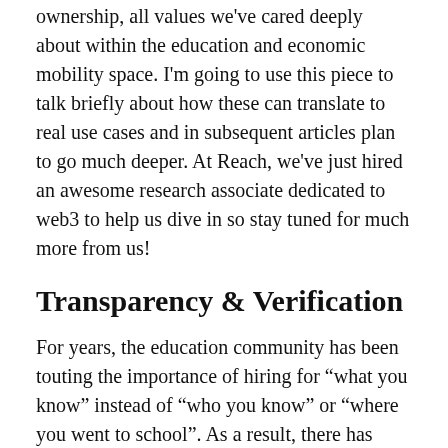ownership, all values we've cared deeply about within the education and economic mobility space. I'm going to use this piece to talk briefly about how these can translate to real use cases and in subsequent articles plan to go much deeper. At Reach, we've just hired an awesome research associate dedicated to web3 to help us dive in so stay tuned for much more from us!
Transparency & Verification
For years, the education community has been touting the importance of hiring for “what you know” instead of “who you know” or “where you went to school”. As a result, there has been an explosion of digital credential platforms like Credly, skill-based bootcamps, and online assessments that help with hiring. In a Web2 world, we focus on trying to wrap up what happens in the offline world into a digital-based credential that is